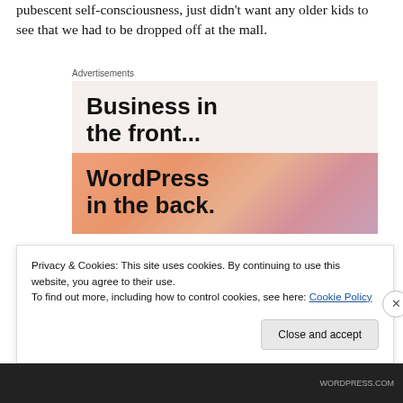pubescent self-consciousness, just didn't want any older kids to see that we had to be dropped off at the mall.
Advertisements
[Figure (infographic): Advertisement for WordPress showing two sections: top section with text 'Business in the front...' on a light beige background, and bottom section with text 'WordPress in the back.' on a gradient orange-pink background.]
Privacy & Cookies: This site uses cookies. By continuing to use this website, you agree to their use.
To find out more, including how to control cookies, see here: Cookie Policy
Close and accept